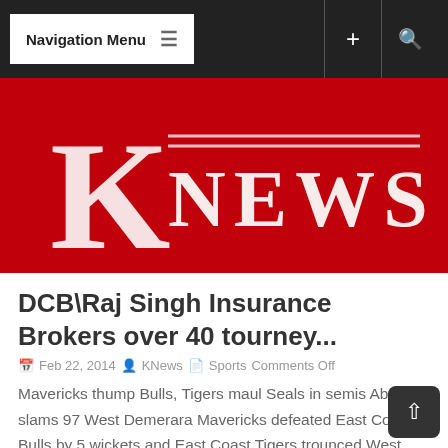Navigation Menu
[Figure (logo): KNews logo — large white K with NEWS text on dark red background]
DCB\Raj Singh Insurance Brokers over 40 tourney...
Feb 22, 2014  KNews  Sports Comments Off
Mavericks thump Bulls, Tigers maul Seals in semis Abel slams 97 West Demerara Mavericks defeated East Coast Bulls by 5 wickets and East Coast Tigers trounced West Demerara Seals by 9 wickets in their...
Read More